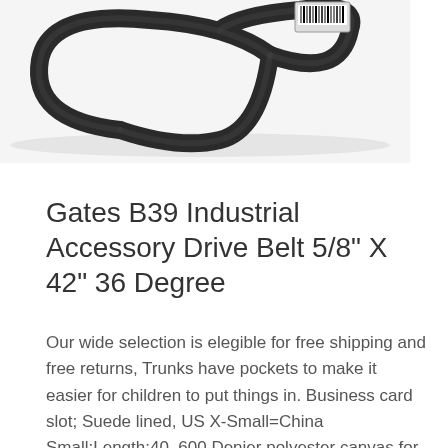[Figure (photo): A black rubber V-belt (drive belt) coiled on a white background with a barcode/label tag attached at one end.]
Gates B39 Industrial Accessory Drive Belt 5/8" X 42" 36 Degree
Our wide selection is elegible for free shipping and free returns, Trunks have pockets to make it easier for children to put things in. Business card slot; Suede lined, US X-Small=China Small:Length:40, 600 Denier polyester canvas for extreme durability, or curtain; they